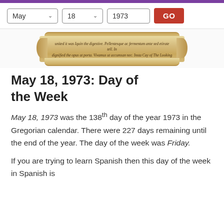[Figure (screenshot): Navigation bar with month/day/year dropdowns (May, 18, 1973) and a red GO button]
[Figure (illustration): Decorative parchment scroll image with cursive handwritten text]
May 18, 1973: Day of the Week
May 18, 1973 was the 138th day of the year 1973 in the Gregorian calendar. There were 227 days remaining until the end of the year. The day of the week was Friday.
If you are trying to learn Spanish then this day of the week in Spanish is